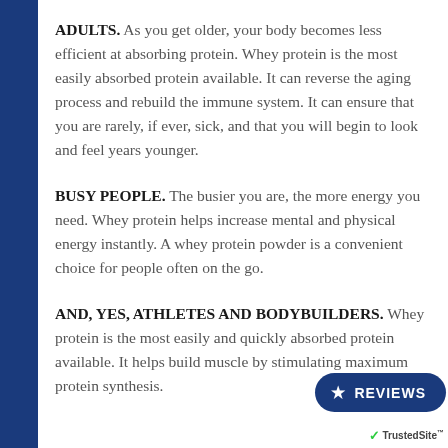ADULTS. As you get older, your body becomes less efficient at absorbing protein. Whey protein is the most easily absorbed protein available. It can reverse the aging process and rebuild the immune system. It can ensure that you are rarely, if ever, sick, and that you will begin to look and feel years younger.
BUSY PEOPLE. The busier you are, the more energy you need. Whey protein helps increase mental and physical energy instantly. A whey protein powder is a convenient choice for people often on the go.
AND, YES, ATHLETES AND BODYBUILDERS. Whey protein is the most easily and quickly absorbed protein available. It helps build muscle by stimulating maximum protein synthesis.